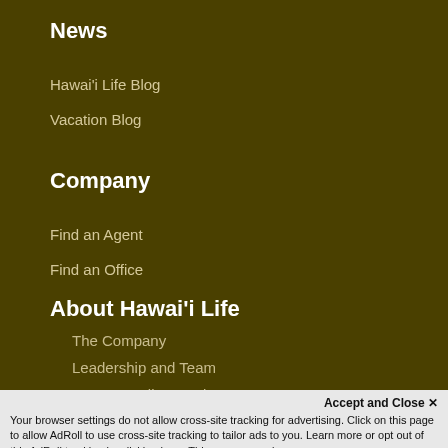News
Hawai'i Life Blog
Vacation Blog
Company
Find an Agent
Find an Office
About Hawai'i Life
The Company
Leadership and Team
Buyer & Seller Services
Hawaii Life Charitable Fund
Specializations
Military Specialized Team
Conservation & Legacy Lands
Global Collections
Accept and Close ✕
Your browser settings do not allow cross-site tracking for advertising. Click on this page to allow AdRoll to use cross-site tracking to tailor ads to you. Learn more or opt out of this AdRoll tracking by clicking here. This message only appears once.